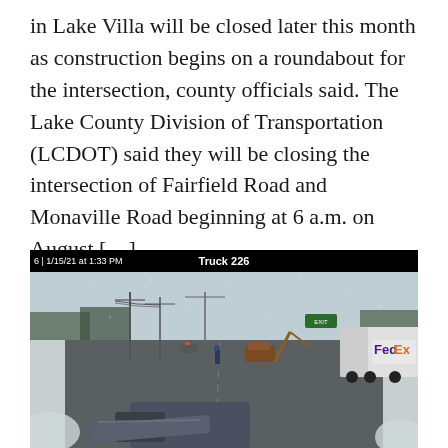in Lake Villa will be closed later this month as construction begins on a roundabout for the intersection, county officials said. The Lake County Division of Transportation (LCDOT) said they will be closing the intersection of Fairfield Road and Monaville Road beginning at 6 a.m. on August […]
[Figure (photo): Traffic camera screenshot dated 1/15/21 at 1:33 PM labeled 'Truck 226' showing a winter road scene with snow, vehicles including a FedEx truck, utility poles, and snow plow equipment in the foreground.]